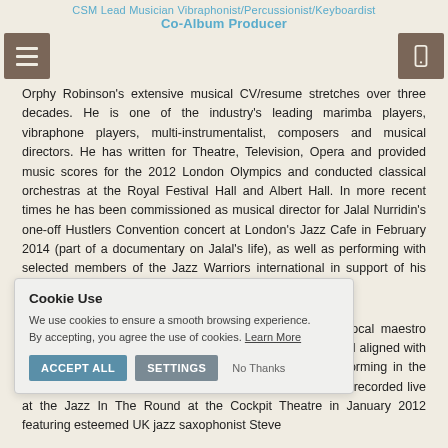CSM Lead Musician Vibraphonist/Percussionist/Keyboardist
Co-Album Producer
Orphy Robinson's extensive musical CV/resume stretches over three decades. He is one of the industry's leading marimba players, vibraphone players, multi-instrumentalist, composers and musical directors. He has written for Theatre, Television, Opera and provided music scores for the 2012 London Olympics and conducted classical orchestras at the Royal Festival Hall and Albert Hall. In more recent times he has been commissioned as musical director for Jalal Nurridin's one-off Hustlers Convention concert at London's Jazz Cafe in February 2014 (part of a documentary on Jalal's life), as well as performing with selected members of the Jazz Warriors international in support of his good friend and spoken ... OG's.
... vocal maestro Cleveland ... presented by Warriors International aligned with his commitment to his long-term friend Pat Thomas performing in the guise of "Black Top". With a new Black Top three-track EP recorded live at the Jazz In The Round at the Cockpit Theatre in January 2012 featuring esteemed UK jazz saxophonist Steve